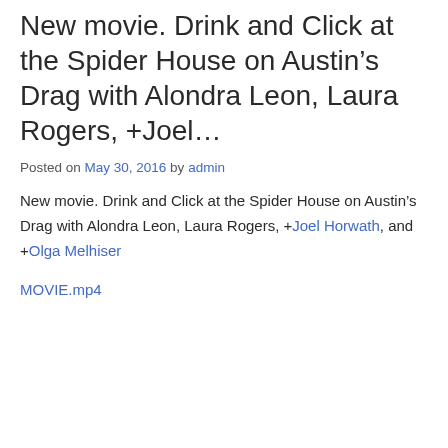New movie. Drink and Click at the Spider House on Austin’s Drag with Alondra Leon, Laura Rogers, +Joel…
Posted on May 30, 2016 by admin
New movie. Drink and Click at the Spider House on Austin’s Drag with Alondra Leon, Laura Rogers, +Joel Horwath, and +Olga Melhiser
MOVIE.mp4